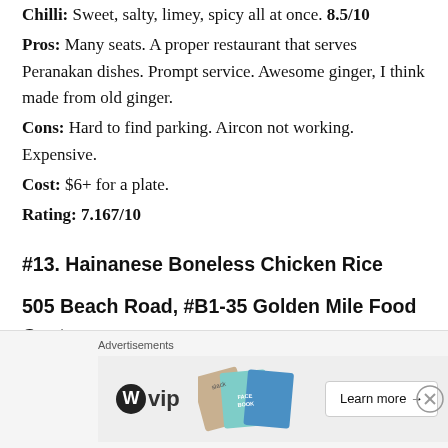Chilli: Sweet, salty, limey, spicy all at once. 8.5/10
Pros: Many seats. A proper restaurant that serves Peranakan dishes. Prompt service. Awesome ginger, I think made from old ginger.
Cons: Hard to find parking. Aircon not working. Expensive.
Cost: $6+ for a plate.
Rating: 7.167/10
#13. Hainanese Boneless Chicken Rice
505 Beach Road, #B1-35 Golden Mile Food Centre, Singapore 199583
[Figure (other): Advertisement banner with WordPress VIP logo and colorful cards showing social media logos (Slack, Facebook). Includes 'Learn more' button and close button.]